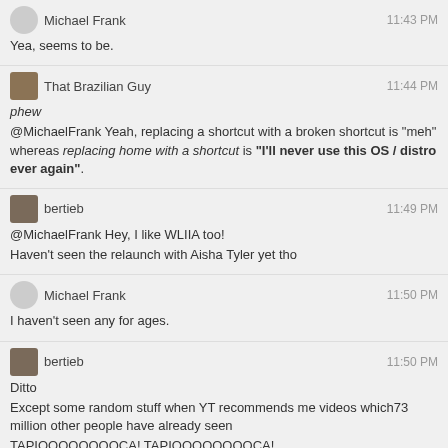Michael Frank — 11:43 PM
Yea, seems to be.
That Brazilian Guy — 11:44 PM
phew
@MichaelFrank Yeah, replacing a shortcut with a broken shortcut is "meh" whereas replacing home with a shortcut is "I'll never use this OS / distro ever again".
bertieb — 11:49 PM
@MichaelFrank Hey, I like WLIIA too!
Haven't seen the relaunch with Aisha Tyler yet tho
Michael Frank — 11:50 PM
I haven't seen any for ages.
bertieb — 11:50 PM
Ditto
Except some random stuff when YT recommends me videos which73 million other people have already seen
TAPIOOOOOOOOOCA! TAPIOOOOOOOOCA!
Anyhoo
Good clean fun
← prev day
next day →
last day »
join this room